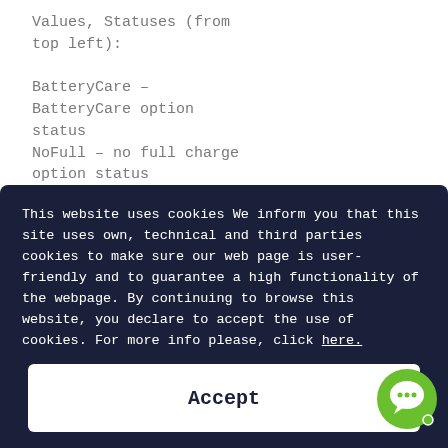Values, Statuses (from top left):

BatteryCare – BatteryCare option status
NoFull – no full charge option status
This website uses cookies We inform you that this site uses own, technical and third parties cookies to make sure our web page is user-friendly and to guarantee a high functionality of the webpage. By continuing to browse this website, you declare to accept the use of cookies. For more info please, click here.
Settings
Accept